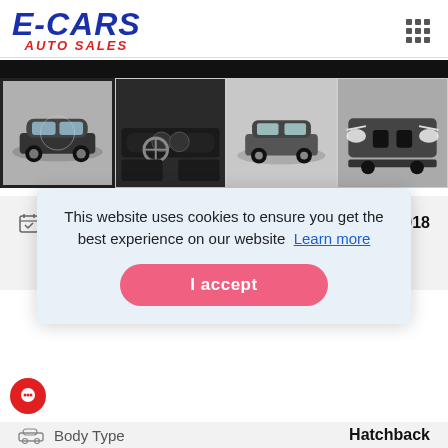[Figure (logo): E-CARS AUTO SALES logo — bold blue italic text 'E-CARS' with red italic 'AUTO SALES' below]
[Figure (photo): Black bar / hero image placeholder]
[Figure (photo): Four car thumbnail photos: dark BMW 1-series hatchback exterior (selected), interior dashboard, rear/side exterior, front close-up]
Registration Year   2018
This website uses cookies to ensure you get the best experience on our website  Learn more
I accept
Body Type   Hatchback